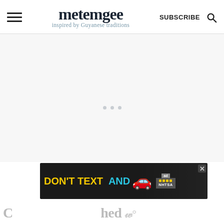metemgee — inspired by Guyanese traditions | SUBSCRIBE
[Figure (screenshot): White/light gray content area with three small loading dots centered, indicating content is loading. Below is a partially visible article title in light gray.]
[Figure (other): Advertisement banner: black background with yellow text 'DON'T TEXT' and cyan text 'AND' followed by a red car emoji, an 'ad' badge, and NHTSA logo with yellow dots. An X close button is in the top right.]